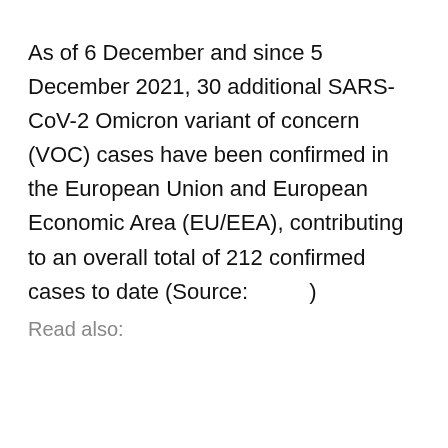As of 6 December and since 5 December 2021, 30 additional SARS-CoV-2 Omicron variant of concern (VOC) cases have been confirmed in the European Union and European Economic Area (EU/EEA), contributing to an overall total of 212 confirmed cases to date (Source:          )
Read also: